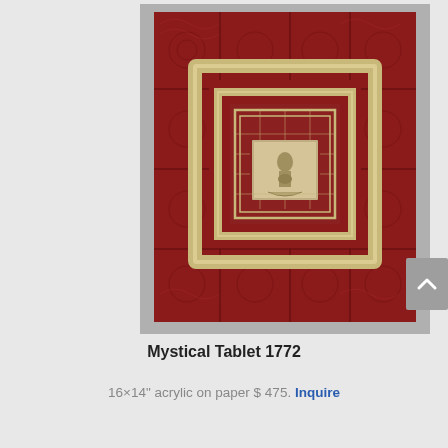[Figure (photo): Photograph of an artwork titled 'Mystical Tablet 1772' — a square mixed-media piece with deep red/maroon textured acrylic panels arranged in a grid, with concentric square metallic (silver/gold) frames leading to a small central sculptural element resembling a figurine or decorative object, all mounted on a gray wall background.]
Mystical Tablet 1772
16×14" acrylic on paper $ 475. Inquire